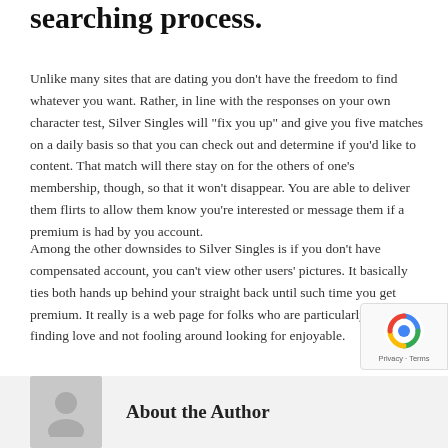searching process.
Unlike many sites that are dating you don't have the freedom to find whatever you want. Rather, in line with the responses on your own character test, Silver Singles will “fix you up” and give you five matches on a daily basis so that you can check out and determine if you’d like to content. That match will there stay on for the others of one’s membership, though, so that it won’t disappear. You are able to deliver them flirts to allow them know you’re interested or message them if a premium is had by you account.
Among the other downsides to Silver Singles is if you don’t have compensated account, you can’t view other users’ pictures. It basically ties both hands up behind your straight back until such time you get premium. It really is a web page for folks who are particularly intent on finding love and not fooling around looking for enjoyable.
[Figure (infographic): Five empty star rating icons followed by an info circle icon and a 'Rate this' button]
About the Author